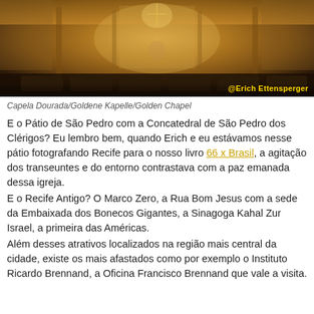[Figure (photo): Interior of the Golden Chapel (Capela Dourada) in Recife, Brazil, showing ornate gilded baroque altar and decorations with religious paintings and statues. Watermark '@Erich Ettensperger' in yellow text at bottom right.]
Capela Dourada/Goldene Kapelle/Golden Chapel
E o Pátio de São Pedro com a Concatedral de São Pedro dos Clérigos? Eu lembro bem, quando Erich e eu estávamos nesse pátio fotografando Recife para o nosso livro 66 x Brasil, a agitação dos transeuntes e do entorno contrastava com a paz emanada dessa igreja.
E o Recife Antigo? O Marco Zero, a Rua Bom Jesus com a sede da Embaixada dos Bonecos Gigantes, a Sinagoga Kahal Zur Israel, a primeira das Américas.
Além desses atrativos localizados na região mais central da cidade, existe os mais afastados como por exemplo o Instituto Ricardo Brennand, a Oficina Francisco Brennand que vale a visita.